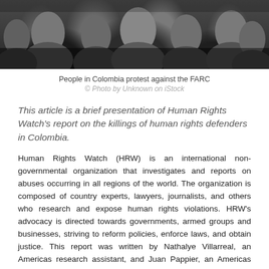[Figure (photo): Crowd of people, appears to be a protest or gathering in Colombia, dark tones, taken from behind/side of crowd]
People in Colombia protest against the FARC
© Photo by Unknown on iStock
This article is a brief presentation of Human Rights Watch's report on the killings of human rights defenders in Colombia.
Human Rights Watch (HRW) is an international non-governmental organization that investigates and reports on abuses occurring in all regions of the world. The organization is composed of country experts, lawyers, journalists, and others who research and expose human rights violations. HRW's advocacy is directed towards governments, armed groups and businesses, striving to reform policies, enforce laws, and obtain justice. This report was written by Nathalye Villarreal, an Americas research assistant, and Juan Pappier, an Americas senior researcher.